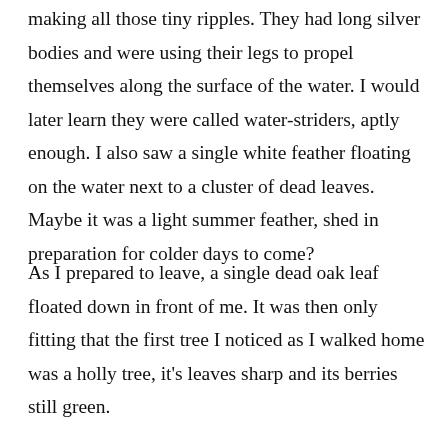making all those tiny ripples. They had long silver bodies and were using their legs to propel themselves along the surface of the water. I would later learn they were called water-striders, aptly enough. I also saw a single white feather floating on the water next to a cluster of dead leaves. Maybe it was a light summer feather, shed in preparation for colder days to come?
As I prepared to leave, a single dead oak leaf floated down in front of me. It was then only fitting that the first tree I noticed as I walked home was a holly tree, it's leaves sharp and its berries still green.